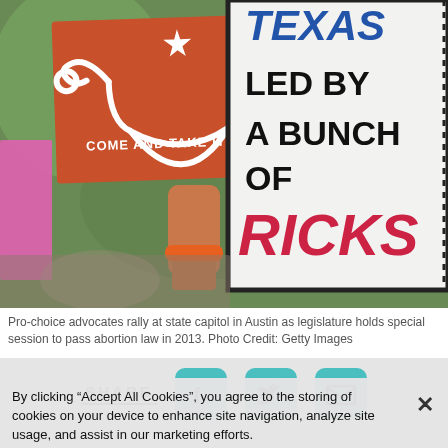[Figure (photo): Pro-choice advocates rally at state capitol. One person holds an orange sign reading 'COME AND TAKE IT' with a uterus graphic. In the background is a white sign reading 'Texas Led By A Bunch Of RICKS'.]
Pro-choice advocates rally at state capitol in Austin as legislature holds special session to pass abortion law in 2013. Photo Credit: Getty Images
SHARE
By clicking “Accept All Cookies”, you agree to the storing of cookies on your device to enhance site navigation, analyze site usage, and assist in our marketing efforts.